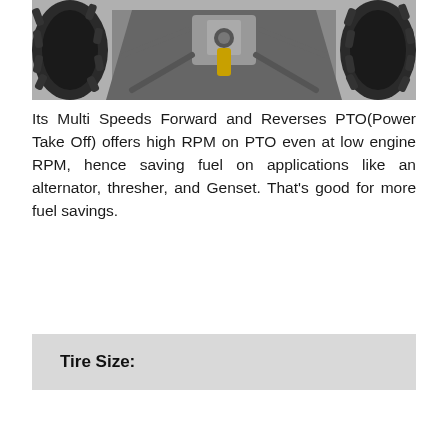[Figure (photo): Underside view of a tractor showing large agricultural tires on both sides and mechanical components (PTO, axle, linkage) in the center.]
Its Multi Speeds Forward and Reverses PTO(Power Take Off) offers high RPM on PTO even at low engine RPM, hence saving fuel on applications like an alternator, thresher, and Genset. That's good for more fuel savings.
Tire Size: